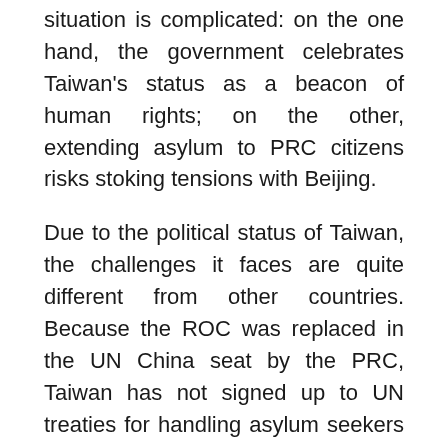situation is complicated: on the one hand, the government celebrates Taiwan's status as a beacon of human rights; on the other, extending asylum to PRC citizens risks stoking tensions with Beijing.
Due to the political status of Taiwan, the challenges it faces are quite different from other countries. Because the ROC was replaced in the UN China seat by the PRC, Taiwan has not signed up to UN treaties for handling asylum seekers and refugees. Nevertheless, Taiwan has accepted five international human rights treaties. Among them, in 2009, the International Covenant on Civil and Political Rights (ICCPR) (which binds its signatories to respect civil and political rights,